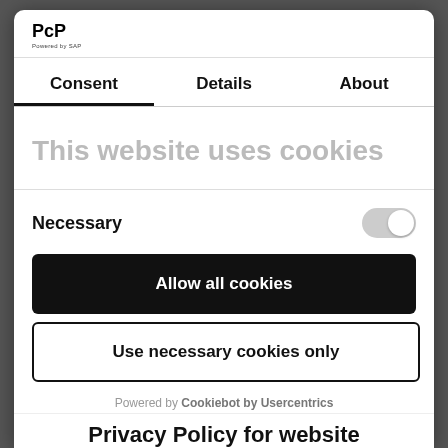[Figure (logo): PcP logo with 'Powered by SAP' tagline below]
Consent	Details	About
This website uses cookies
Necessary
Allow all cookies
Use necessary cookies only
Powered by Cookiebot by Usercentrics
Privacy Policy for website